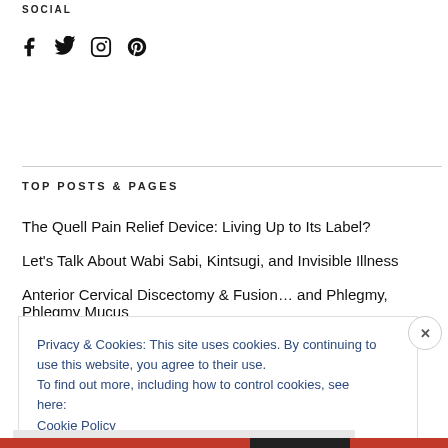SOCIAL
[Figure (other): Social media icons: Facebook, Twitter, Instagram, Pinterest]
TOP POSTS & PAGES
The Quell Pain Relief Device: Living Up to Its Label?
Let's Talk About Wabi Sabi, Kintsugi, and Invisible Illness
Anterior Cervical Discectomy & Fusion… and Phlegmy, Phlegmy Mucus
Privacy & Cookies: This site uses cookies. By continuing to use this website, you agree to their use.
To find out more, including how to control cookies, see here:
Cookie Policy
Close and accept